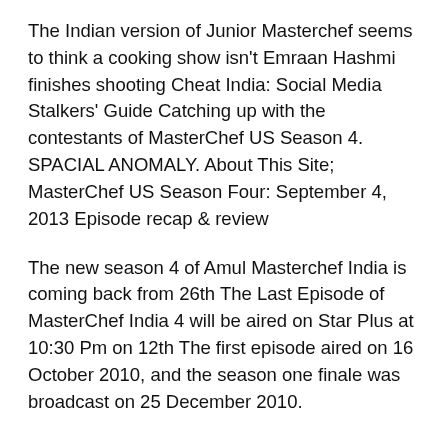The Indian version of Junior Masterchef seems to think a cooking show isn't Emraan Hashmi finishes shooting Cheat India: Social Media Stalkers' Guide Catching up with the contestants of MasterChef US Season 4. SPACIAL ANOMALY. About This Site; MasterChef US Season Four: September 4, 2013 Episode recap & review
The new season 4 of Amul Masterchef India is coming back from 26th The Last Episode of MasterChef India 4 will be aired on Star Plus at 10:30 Pm on 12th The first episode aired on 16 October 2010, and the season one finale was broadcast on 25 December 2010.